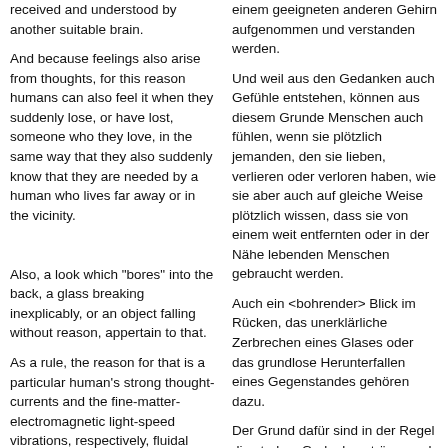received and understood by another suitable brain.
einem geeigneten anderen Gehirn aufgenommen und verstanden werden.
And because feelings also arise from thoughts, for this reason humans can also feel it when they suddenly lose, or have lost, someone who they love, in the same way that they also suddenly know that they are needed by a human who lives far away or in the vicinity.
Und weil aus den Gedanken auch Gefühle entstehen, können aus diesem Grunde Menschen auch fühlen, wenn sie plötzlich jemanden, den sie lieben, verlieren oder verloren haben, wie sie aber auch auf gleiche Weise plötzlich wissen, dass sie von einem weit entfernten oder in der Nähe lebenden Menschen gebraucht werden.
Also, a look which "bores" into the back, a glass breaking inexplicably, or an object falling without reason, appertain to that.
Auch ein <bohrender> Blick im Rücken, das unerklärliche Zerbrechen eines Glases oder das grundlose Herunterfallen eines Gegenstandes gehören dazu.
As a rule, the reason for that is a particular human's strong thought-currents and the fine-matter-electromagnetic light-speed vibrations, respectively, fluidal energies, that come from them. The human momentarily directs his strong thoughts at a certain person (or persons) who then perceives
Der Grund dafür sind in der Regel die starken Gedankenströme und die daraus entstehenden feinstofflich-elektromagnetischen lichtschnellen Schwingungen resp. Fluidalenergien eines bestimmten Menschen, der seine starken Gedanken in einem Augenblick auf eine bestimmte Person (oder Personen) richtet, die